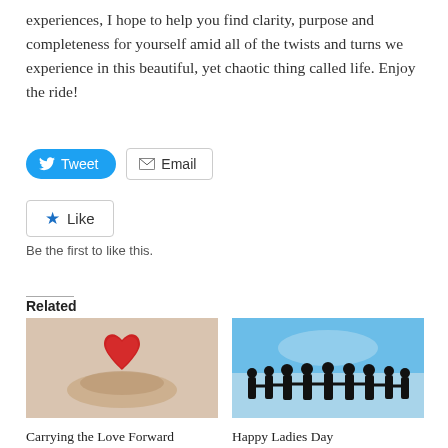experiences, I hope to help you find clarity, purpose and completeness for yourself amid all of the twists and turns we experience in this beautiful, yet chaotic thing called life. Enjoy the ride!
[Figure (screenshot): Tweet and Email share buttons]
[Figure (screenshot): Like button widget]
Be the first to like this.
Related
[Figure (photo): Hands holding a red heart]
Carrying the Love Forward
April 15, 2022
[Figure (photo): Silhouettes of women holding hands against a blue sky]
Happy Ladies Day
March 8, 2018